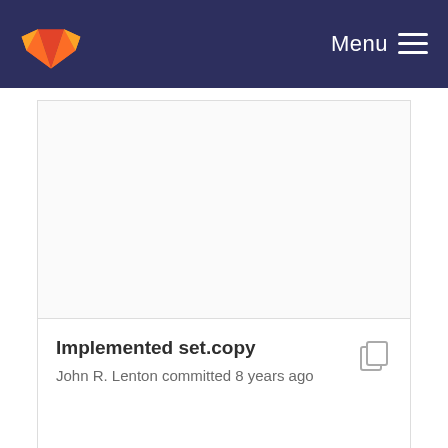Menu
Implemented set.copy
John R. Lenton committed 8 years ago